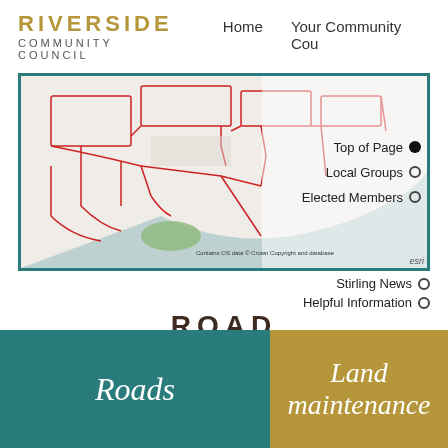RIVERSIDE Community Council   Home   Your Community Cou...
[Figure (map): Street map of Riverside Community Council area showing roads outlined in red, with a river visible. Contains OS data © Crown Copyright and database. esri logo visible. Overlay navigation menu on right side showing: Top of Page (filled circle), Local Groups (empty circle), Elected Members (empty circle), Stirling News (empty circle), Helpful Information (empty circle).]
ROAD GRITTING SCHEDULE
Roads
Land maintenance